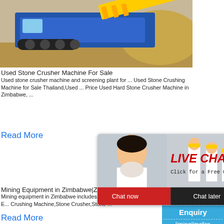[Figure (photo): Blue and yellow mobile stone crushing machine/screening plant on sandy terrain]
Used Stone Crusher Machine For Sale
Used stone crusher machine and screening plant for ... Used Stone Crushing Machine for Sale Thailand,Used ... Price Used Hard Stone Crusher Machine in Zimbabwe, ...
Read More
[Figure (photo): Orange mobile mining/crushing equipment machine]
[Figure (photo): Live Chat popup with woman and workers in hard hats, red LIVE CHAT title, Chat now and Chat later buttons]
[Figure (photo): Right sidebar with cone crusher machine image, Click me to chat, Enquiry, limingjlmofen text on blue background]
Mining Equipment in Zimbabwe|Zimbabwe
Mining equipment in Zimbabwe includes ... impressive prices for mineral ... Crushing E... Crushing Machine,Stone Crusher,Stone ...
Read More